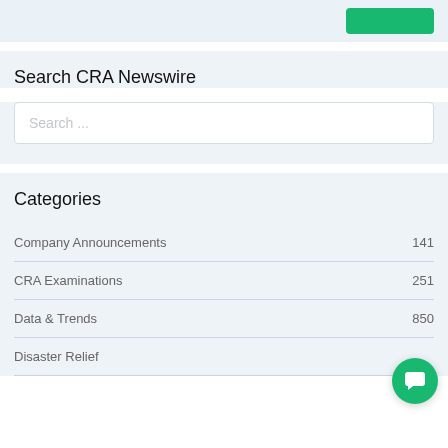Search CRA Newswire
Search ...
Categories
Company Announcements 141
CRA Examinations 251
Data & Trends 850
Disaster Relief